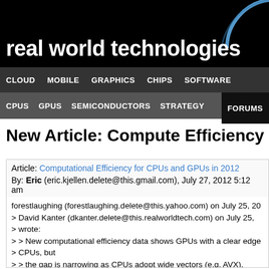real world technologies
CLOUD  MOBILE  GRAPHICS  CHIPS  SOFTWARE
CPUS  GPUS  SEMICONDUCTORS  STRATEGY  FORUMS
New Article: Compute Efficiency 2012
Article: Computational Efficiency for CPUs and GPUs in 2012
By: Eric (eric.kjellen.delete@this.gmail.com), July 27, 2012 5:12 am
forestlaughing (forestlaughing.delete@this.yahoo.com) on July 25, 20
> David Kanter (dkanter.delete@this.realworldtech.com) on July 25,
> wrote:
> > New computational efficiency data shows GPUs with a clear edge
> CPUs, but
> > the gap is narrowing as CPUs adopt wide vectors (e.g. AVX).
> Surprisingly, a
> > throughput CPU is the most energy efficient processor,
> offering hope for future
> > architectures. Our data also shows some
> advantages of AMD's Bulldozer, and the